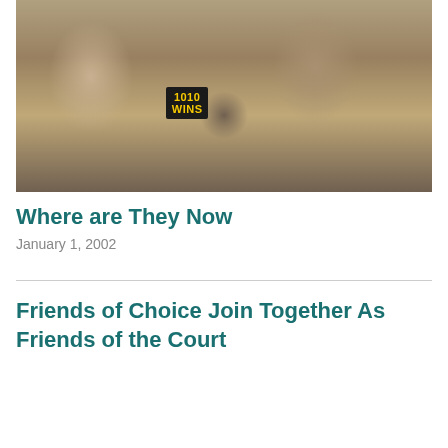[Figure (photo): Two men in trench coats speaking at microphones at a press conference. A '1010 WINS' radio microphone is visible in the foreground.]
Where are They Now
January 1, 2002
Friends of Choice Join Together As Friends of the Court